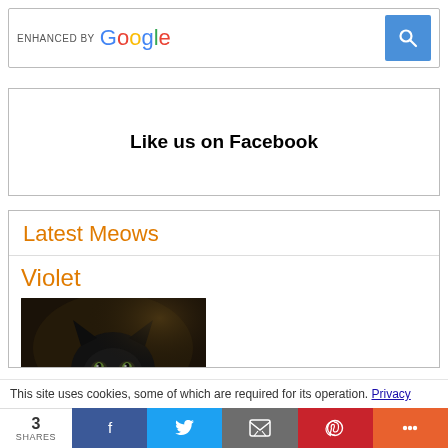[Figure (screenshot): Google enhanced search bar with blue search button]
Like us on Facebook
Latest Meows
Violet
[Figure (photo): Black cat looking at camera]
This site uses cookies, some of which are required for its operation. Privacy
3 SHARES